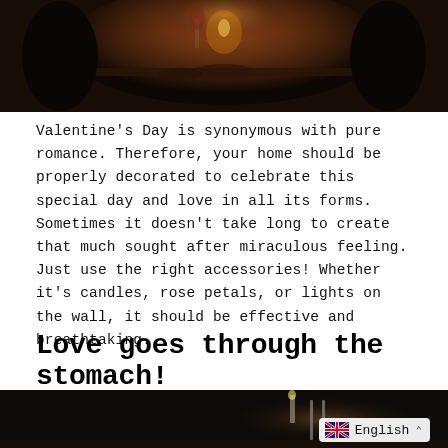[Figure (photo): Dark romantic dinner scene with candles, wine glasses, and food on a table, silhouettes of two people dining]
Valentine's Day is synonymous with pure romance. Therefore, your home should be properly decorated to celebrate this special day and love in all its forms. Sometimes it doesn't take long to create that much sought after miraculous feeling. Just use the right accessories! Whether it's candles, rose petals, or lights on the wall, it should be effective and breathtaking.
Love goes through the stomach!
[Figure (photo): Dark romantic dinner/food scene with a candle and cutlery visible, partially cropped at bottom of page]
USD >
English